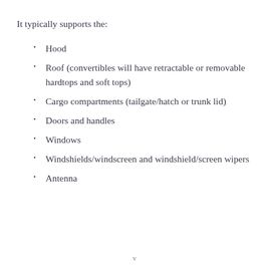It typically supports the:
Hood
Roof (convertibles will have retractable or removable hardtops and soft tops)
Cargo compartments (tailgate/hatch or trunk lid)
Doors and handles
Windows
Windshields/windscreen and windshield/screen wipers
Antenna
v